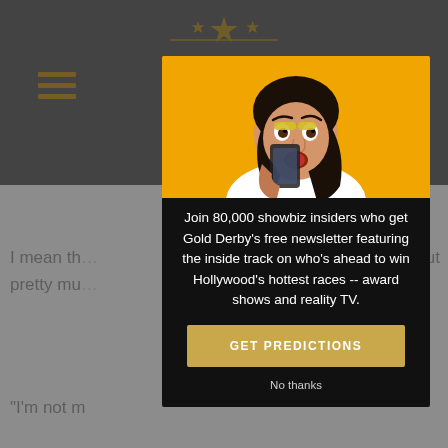[Figure (screenshot): Website page background showing gold derby site with gray header, hamburger menu, comment text snippets, reply button, green cartoon character avatar, March 27 date, quotation marks, and Chris Beachum wrote: text]
[Figure (photo): Modal popup overlay on dark background showing a young woman with dark hair holding a phone with a surprised/shocked expression, against an orange/yellow background]
Join 80,000 showbiz insiders who get Gold Derby's free newsletter featuring the inside track on who's ahead to win Hollywood's hottest races -- award shows and reality TV.
GET PREDICTIONS
No thanks